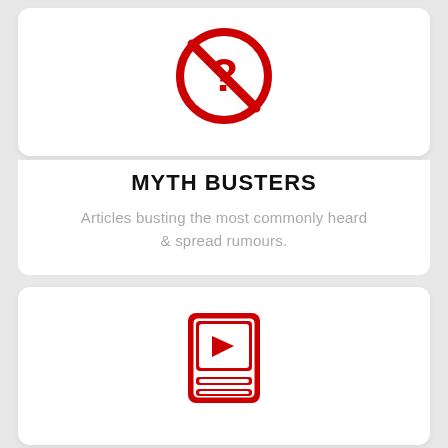[Figure (illustration): Red circle with a question mark and a diagonal red line through it (prohibition/no-question icon)]
MYTH BUSTERS
Articles busting the most commonly heard & spread rumours.
[Figure (illustration): Red book/tablet icon with a play button triangle and horizontal lines at the bottom, resembling a video mini-series icon]
MINI SERIES
Multi-part articles to make your life easier.